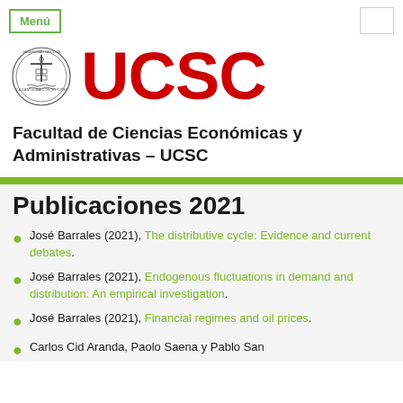Menú
[Figure (logo): UCSC university seal/crest logo and UCSC text in red]
Facultad de Ciencias Económicas y Administrativas – UCSC
Publicaciones 2021
José Barrales (2021), The distributive cycle: Evidence and current debates.
José Barrales (2021), Endogenous fluctuations in demand and distribution: An empirical investigation.
José Barrales (2021), Financial regimes and oil prices.
Carlos Cid Aranda, Paolo Saena y Pablo San